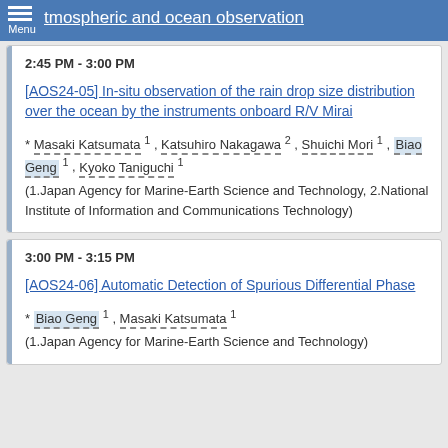Atmospheric and ocean observation
2:45 PM - 3:00 PM
[AOS24-05] In-situ observation of the rain drop size distribution over the ocean by the instruments onboard R/V Mirai
* Masaki Katsumata 1, Katsuhiro Nakagawa 2, Shuichi Mori 1, Biao Geng 1, Kyoko Taniguchi 1
(1.Japan Agency for Marine-Earth Science and Technology, 2.National Institute of Information and Communications Technology)
3:00 PM - 3:15 PM
[AOS24-06] Automatic Detection of Spurious Differential Phase
* Biao Geng 1, Masaki Katsumata 1
(1.Japan Agency for Marine-Earth Science and Technology)